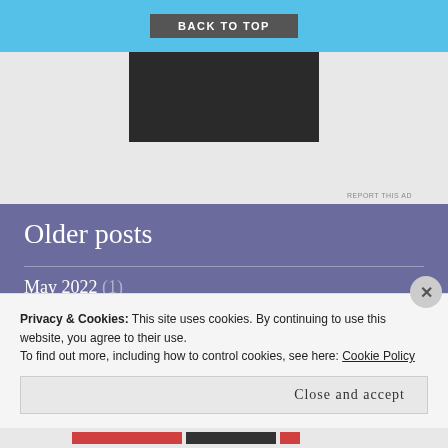BACK TO TOP
[Figure (other): Dark advertisement box]
REPORT THIS AD
Older posts
May 2022 (1)
February 2022 (1)
January 2022 (5)
Privacy & Cookies: This site uses cookies. By continuing to use this website, you agree to their use.
To find out more, including how to control cookies, see here: Cookie Policy
Close and accept